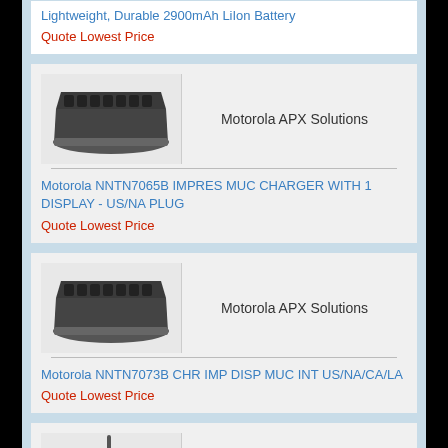Lightweight, Durable 2900mAh LiIon Battery
Quote Lowest Price
[Figure (photo): Multi-unit IMPRES charger dock for Motorola radios, dark gray, angled top view]
Motorola APX Solutions
Motorola NNTN7065B IMPRES MUC CHARGER WITH 1 DISPLAY - US/NA PLUG
Quote Lowest Price
[Figure (photo): Multi-unit IMPRES charger dock for Motorola radios, dark gray, angled top view]
Motorola APX Solutions
Motorola NNTN7073B CHR IMP DISP MUC INT US/NA/CA/LA
Quote Lowest Price
[Figure (photo): Motorola radio device with antenna, partial view at bottom of page]
Motorola APX Solutions